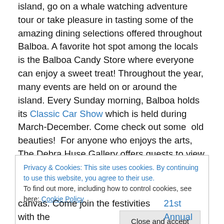island, go on a whale watching adventure tour or take pleasure in tasting some of the amazing dining selections offered throughout Balboa. A favorite hot spot among the locals is the Balboa Candy Store where everyone can enjoy a sweet treat! Throughout the year, many events are held on or around the island. Every Sunday morning, Balboa holds its Classic Car Show which is held during March-December. Come check out some  old beauties!  For anyone who enjoys the arts, The Debra Huse Gallery offers guests to view and buy exquisite paintings. The gallery will be holding its seventh annual Just Plein Fun
Privacy & Cookies: This site uses cookies. By continuing to use this website, you agree to their use. To find out more, including how to control cookies, see here: Cookie Policy
canvas. Come join the festivities with the 21st Annual